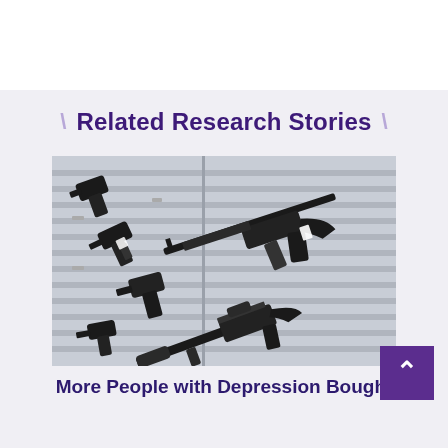Related Research Stories
[Figure (photo): Guns displayed on a wall-mounted slatboard rack in a gun store, including handguns and a large AR-style rifle in the foreground.]
More People with Depression Bought